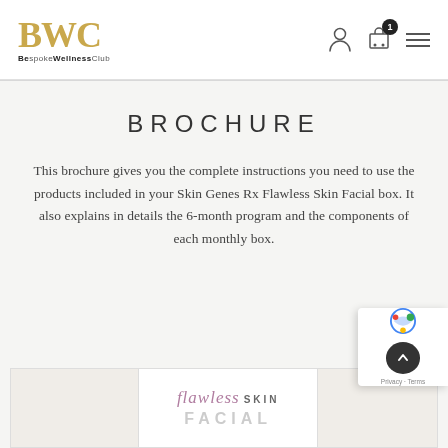BWC BespokeWellnessClub
BROCHURE
This brochure gives you the complete instructions you need to use the products included in your Skin Genes Rx Flawless Skin Facial box. It also explains in details the 6-month program and the components of each monthly box.
[Figure (other): Bottom product preview box showing 'flawless SKIN FACIAL' branding with a light beige/white layout, partially visible]